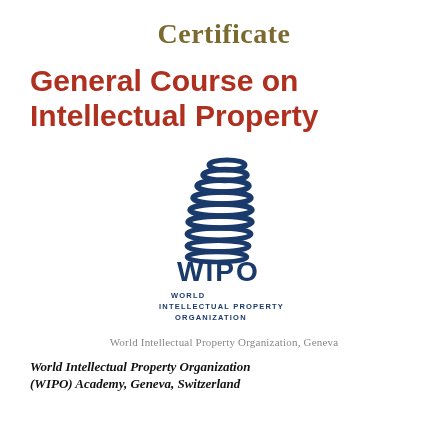Certificate
General Course on Intellectual Property
[Figure (logo): WIPO logo: stylized blue helix/spiral tower above the text WIPO WORLD INTELLECTUAL PROPERTY ORGANIZATION]
World Intellectual Property Organization, Geneva
World Intellectual Property Organization (WIPO) Academy, Geneva, Switzerland